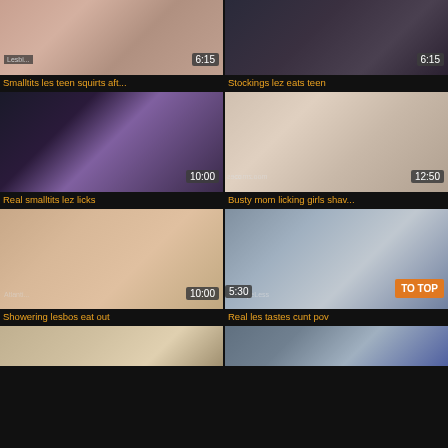[Figure (photo): Video thumbnail - smalltits les teen squirts, duration 6:15]
Smalltits les teen squirts aft...
[Figure (photo): Video thumbnail - Stockings lez eats teen, duration 6:15]
Stockings lez eats teen
[Figure (photo): Video thumbnail - Real smalltits lez licks, duration 10:00]
Real smalltits lez licks
[Figure (photo): Video thumbnail - Busty mom licking girls shav..., duration 12:50]
Busty mom licking girls shav...
[Figure (photo): Video thumbnail - Showering lesbos eat out, duration 10:00]
Showering lesbos eat out
[Figure (photo): Video thumbnail - Real les tastes cunt pov, duration 5:30, with TO TOP button]
Real les tastes cunt pov